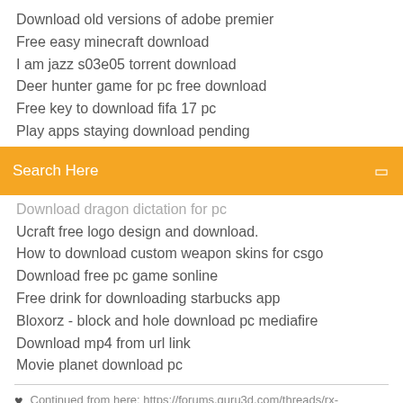Download old versions of adobe premier
Free easy minecraft download
I am jazz s03e05 torrent download
Deer hunter game for pc free download
Free key to download fifa 17 pc
Play apps staying download pending
[Figure (screenshot): Orange search bar with 'Search Here' placeholder text and a small square icon on the right]
Download dragon dictation for pc
Ucraft free logo design and download.
How to download custom weapon skins for csgo
Download free pc game sonline
Free drink for downloading starbucks app
Bloxorz - block and hole download pc mediafire
Download mp4 from url link
Movie planet download pc
Continued from here: https://forums.guru3d.com/threads/rx-